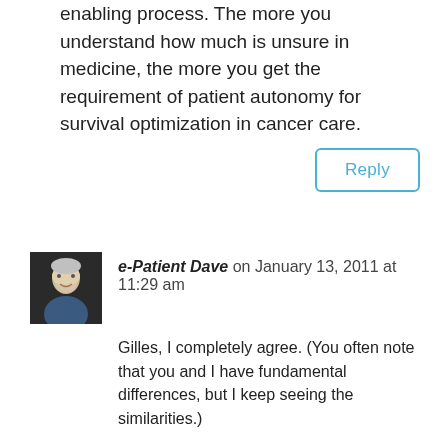enabling process. The more you understand how much is unsure in medicine, the more you get the requirement of patient autonomy for survival optimization in cancer care.
Reply
e-Patient Dave on January 13, 2011 at 11:29 am
Gilles, I completely agree. (You often note that you and I have fundamental differences, but I keep seeing the similarities.)
ACOR members surely are enabled by knowing about IL-2, and by being warned that their doc might not